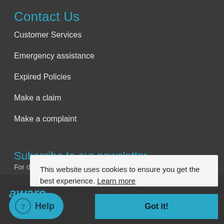Contact Us
Customer Services
Emergency assistance
Expired Policies
Make a claim
Make a complaint
Subscribe to our newsletter
For discounts, competitions, news, tips & more
Please enter your email address
SEND
This website uses cookies to ensure you get the best experience. Learn more
Got it!
Help
aware